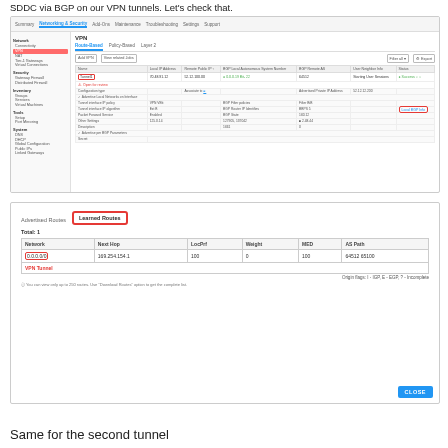SDDC via BGP on our VPN tunnels. Let's check that.
[Figure (screenshot): AWS VPN console screenshot showing Route-Based VPN tunnel configuration with routing details and status indicators]
[Figure (screenshot): Learned Routes dialog showing Total: 1, with network 0.0.0.0/0, Next Hop 169.254.154.1, LocPrf 100, Weight 0, MED 100, AS Path 64512 65100, VPN Tunnel label, and Close button]
Same for the second tunnel